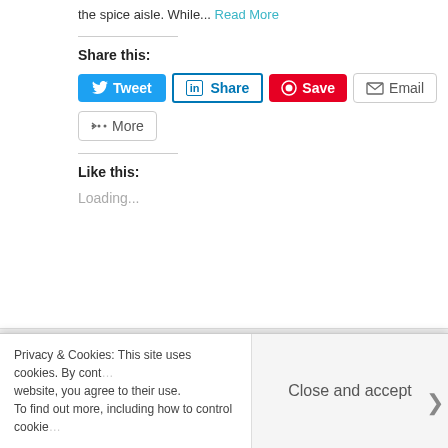the spice aisle. While... Read More
Share this:
[Figure (screenshot): Social share buttons: Tweet (Twitter blue), Share (LinkedIn), Save (Pinterest red), Email (grey), More (grey)]
Like this:
Loading...
Category: Recipes, RV Camping, RV Living   Tags:
Privacy & Cookies: This site uses cookies. By continuing to use this website, you agree to their use. To find out more, including how to control cookies
Close and accept